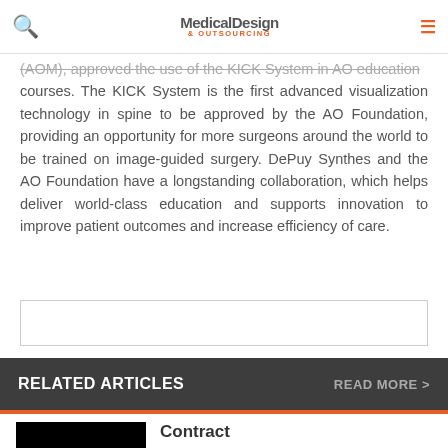Medical Design & Outsourcing
(AOM), approved the use of the KICK System in AO education courses. The KICK System is the first advanced visualization technology in spine to be approved by the AO Foundation, providing an opportunity for more surgeons around the world to be trained on image-guided surgery. DePuy Synthes and the AO Foundation have a longstanding collaboration, which helps deliver world-class education and supports innovation to improve patient outcomes and increase efficiency of care.
[Figure (other): Advertisement placeholder box with border]
RELATED ARTICLES
READ MORE >
[Figure (photo): Black thumbnail image for article]
Contract